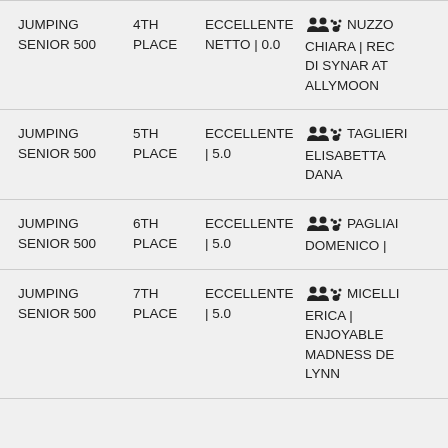| Event | Place | Score | Participant |
| --- | --- | --- | --- |
| JUMPING SENIOR 500 | 4TH PLACE | ECCELLENTE NETTO | 0.0 | NUZZO CHIARA | REG DI SYNAR AT ALLYMOON |
| JUMPING SENIOR 500 | 5TH PLACE | ECCELLENTE | 5.0 | TAGLIERI ELISABETTA | DANA |
| JUMPING SENIOR 500 | 6TH PLACE | ECCELLENTE | 5.0 | PAGLIAI DOMENICO | |
| JUMPING SENIOR 500 | 7TH PLACE | ECCELLENTE | 5.0 | MICELLI ERICA | ENJOYABLE MADNESS DE LYNN |